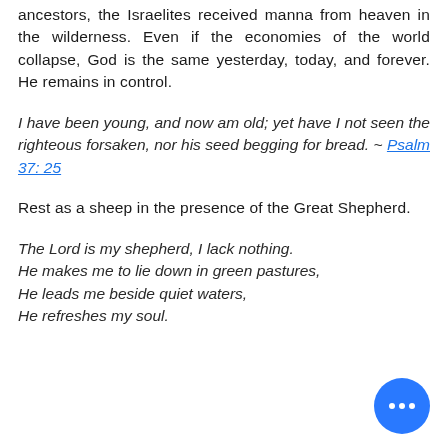ancestors, the Israelites received manna from heaven in the wilderness. Even if the economies of the world collapse, God is the same yesterday, today, and forever. He remains in control.
I have been young, and now am old; yet have I not seen the righteous forsaken, nor his seed begging for bread. ~ Psalm 37: 25
Rest as a sheep in the presence of the Great Shepherd.
The Lord is my shepherd, I lack nothing. He makes me to lie down in green pastures, He leads me beside quiet waters, He refreshes my soul.